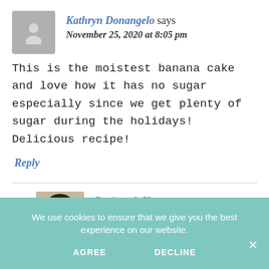[Figure (photo): Generic gray avatar placeholder icon for user Kathryn Donangelo]
Kathryn Donangelo says
November 25, 2020 at 8:05 pm
This is the moistest banana cake and love how it has no sugar especially since we get plenty of sugar during the holidays! Delicious recipe!
Reply
[Figure (photo): Small photo of Recipes & You author, person with short dark hair smiling]
Recipes & You says
We use cookies to ensure that we give you the best experience on our website.
AGREE
DECLINE